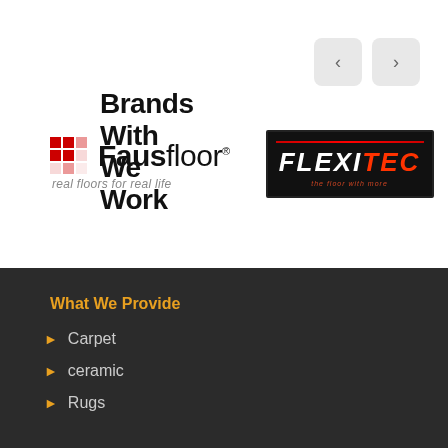Brands With We Work
[Figure (logo): Fausfloor logo - red mosaic tile icon, bold text 'Fausfloor' with tagline 'real floors for real life']
[Figure (logo): Flexitec logo - white italic bold text 'FLEXITEC' on black background with red horizontal line above]
What We Provide
Carpet
ceramic
Rugs